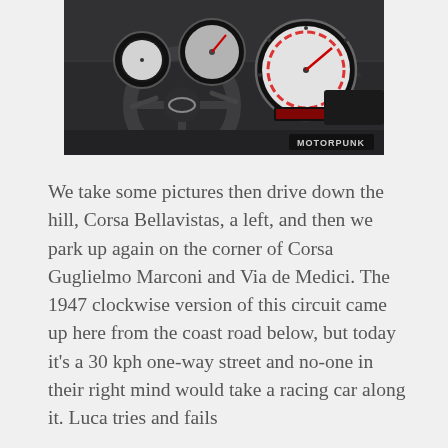[Figure (photo): Interior dashboard photo of a MINI Cooper showing the steering wheel and instrument cluster with speedometer and gauges. Watermark 'MOTORPUNK' visible in bottom right corner of the image.]
We take some pictures then drive down the hill, Corsa Bellavistas, a left, and then we park up again on the corner of Corsa Guglielmo Marconi and Via de Medici. The 1947 clockwise version of this circuit came up here from the coast road below, but today it's a 30 kph one-way street and no-one in their right mind would take a racing car along it. Luca tries and fails